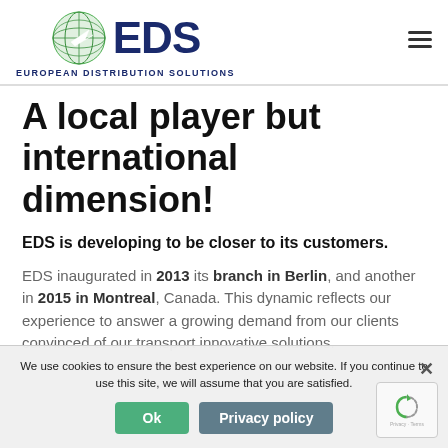[Figure (logo): EDS European Distribution Solutions logo with globe icon]
A local player but international dimension!
EDS is developing to be closer to its customers.
EDS inaugurated in 2013 its branch in Berlin, and another in 2015 in Montreal, Canada. This dynamic reflects our ambition to answer a growing demand from our clients convinced of our transport innovative solutions.
We use cookies to ensure the best experience on our website. If you continue to use this site, we will assume that you are satisfied.